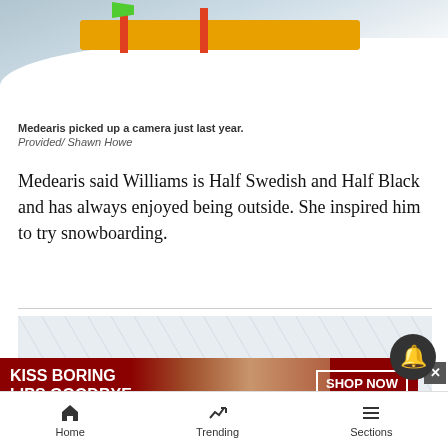[Figure (photo): Snowboarding half-pipe ramp with yellow fence, red poles, and green flag visible at the top. White snow surface in foreground.]
Medearis picked up a camera just last year.
Provided/ Shawn Howe
Medearis said Williams is Half Swedish and Half Black and has always enjoyed being outside. She inspired him to try snowboarding.
[Figure (screenshot): Advertisement banner: KISS BORING LIPS GOODBYE with SHOP NOW / macys logo on dark red background with woman's face.]
Home   Trending   Sections